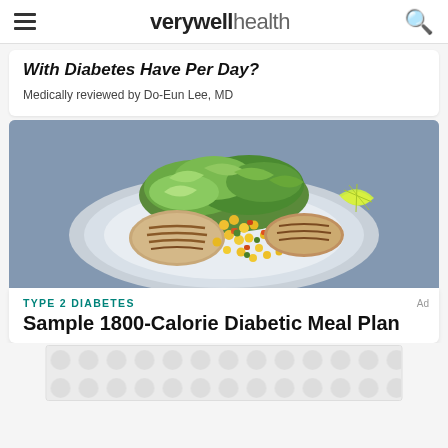verywell health
With Diabetes Have Per Day?
Medically reviewed by Do-Eun Lee, MD
[Figure (photo): A plate with grilled fish, colorful corn and vegetable salsa, shredded lettuce, and a lime wedge on a blue background]
TYPE 2 DIABETES
Sample 1800-Calorie Diabetic Meal Plan
[Figure (other): Advertisement banner with dot pattern]